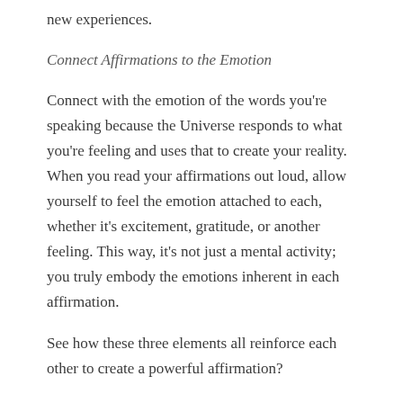new experiences.
Connect Affirmations to the Emotion
Connect with the emotion of the words you're speaking because the Universe responds to what you're feeling and uses that to create your reality. When you read your affirmations out loud, allow yourself to feel the emotion attached to each, whether it's excitement, gratitude, or another feeling. This way, it's not just a mental activity; you truly embody the emotions inherent in each affirmation.
See how these three elements all reinforce each other to create a powerful affirmation?
5 Powerful Affirmations For You
To get you started, here are 5 powerful affirmations